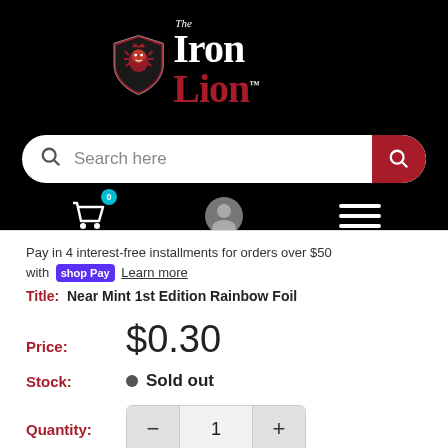The Iron Lion
[Figure (screenshot): Search bar with magnifying glass icon on left and red search button on right]
[Figure (screenshot): Navigation icons: shopping cart with badge 0, user profile icon, hamburger menu]
Pay in 4 interest-free installments for orders over $50 with shop Pay Learn more
Title: Near Mint 1st Edition Rainbow Foil
Price: $0.30
Stock: Sold out
Quantity: 1